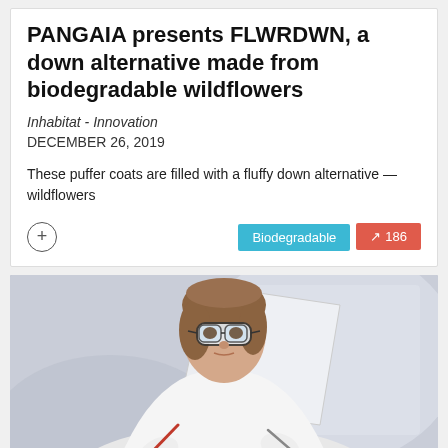PANGAIA presents FLWRDWN, a down alternative made from biodegradable wildflowers
Inhabitat - Innovation
DECEMBER 26, 2019
These puffer coats are filled with a fluffy down alternative — wildflowers
Biodegradable
186
[Figure (photo): A woman wearing safety goggles and white gloves holds scientific tools (tweezers/probes) and examines something in a laboratory setting.]